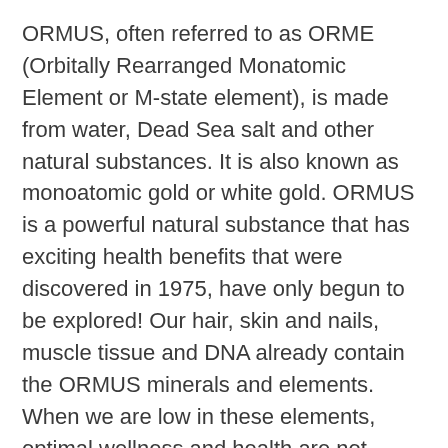ORMUS, often referred to as ORME (Orbitally Rearranged Monatomic Element or M-state element), is made from water, Dead Sea salt and other natural substances. It is also known as monoatomic gold or white gold. ORMUS is a powerful natural substance that has exciting health benefits that were discovered in 1975, have only begun to be explored! Our hair, skin and nails, muscle tissue and DNA already contain the ORMUS minerals and elements. When we are low in these elements, optimal wellness and health are not easily obtained. Even the healthiest diet will lack nutrients because of depleted soil and toxins in our environment today.